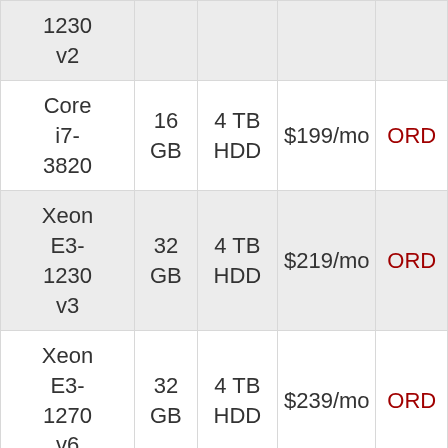| CPU | RAM | Storage | Price |  |
| --- | --- | --- | --- | --- |
| 1230
v2 |  |  |  |  |
| Core i7-3820 | 16 GB | 4 TB HDD | $199/mo | ORD |
| Xeon E3-1230 v3 | 32 GB | 4 TB HDD | $219/mo | ORD |
| Xeon E3-1270 v6 | 32 GB | 4 TB HDD | $239/mo | ORD |
| Xeon E5-2620 | 32 GB | 4 TB HDD | $249/mo | ORD |